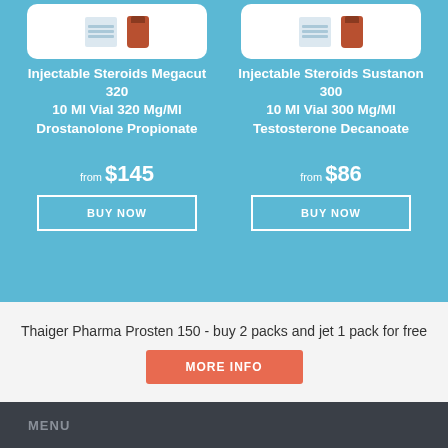[Figure (photo): Product image of Injectable Steroids Megacut 320 - blister pack and vial on white rounded background]
[Figure (photo): Product image of Injectable Steroids Sustanon 300 - blister pack and vial on white rounded background]
Injectable Steroids Megacut 320 10 Ml Vial 320 Mg/Ml Drostanolone Propionate
Injectable Steroids Sustanon 300 10 Ml Vial 300 Mg/Ml Testosterone Decanoate
from $145
from $86
BUY NOW
BUY NOW
Thaiger Pharma Prosten 150 - buy 2 packs and jet 1 pack for free
MORE INFO
MENU